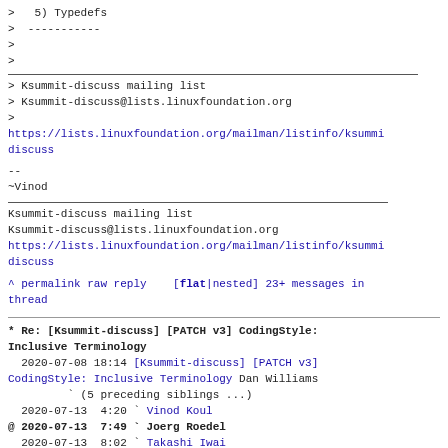>   5) Typedefs
>  -----------
>
>
> Ksummit-discuss mailing list
> Ksummit-discuss@lists.linuxfoundation.org
>
https://lists.linuxfoundation.org/mailman/listinfo/ksummit-discuss
--
~Vinod
Ksummit-discuss mailing list
Ksummit-discuss@lists.linuxfoundation.org
https://lists.linuxfoundation.org/mailman/listinfo/ksummit-discuss
^ permalink raw reply   [flat|nested] 23+ messages in thread
* Re: [Ksummit-discuss] [PATCH v3] CodingStyle: Inclusive Terminology
  2020-07-08 18:14 [Ksummit-discuss] [PATCH v3] CodingStyle: Inclusive Terminology Dan Williams
         ` (5 preceding siblings ...)
  2020-07-13  4:20 ` Vinod Koul
@ 2020-07-13  7:49 ` Joerg Roedel
  2020-07-13  8:02 ` Takashi Iwai